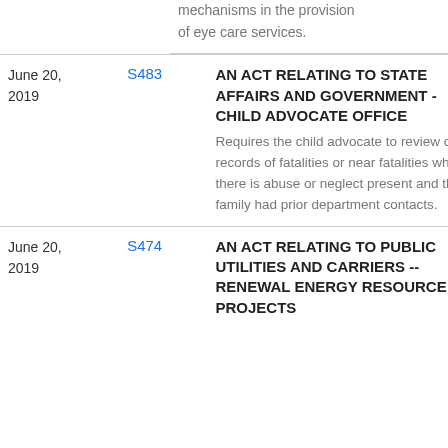mechanisms in the provision of eye care services.
| Date | Bill | Description | Status |
| --- | --- | --- | --- |
| June 20, 2019 | S483 | AN ACT RELATING TO STATE AFFAIRS AND GOVERNMENT - CHILD ADVOCATE OFFICE
Requires the child advocate to review case records of fatalities or near fatalities when there is abuse or neglect present and the family had prior department contacts. | PASSAGE CONCUR... |
| June 20, 2019 | S474 | AN ACT RELATING TO PUBLIC UTILITIES AND CARRIERS -- RENEWAL ENERGY RESOURCE PROJECTS | PASSAGE... |